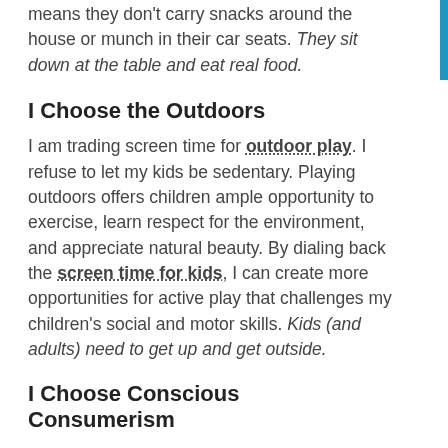snacks. My kids don't eat all day long. This means they don't carry snacks around the house or munch in their car seats. They sit down at the table and eat real food.
I Choose the Outdoors
I am trading screen time for outdoor play. I refuse to let my kids be sedentary. Playing outdoors offers children ample opportunity to exercise, learn respect for the environment, and appreciate natural beauty. By dialing back the screen time for kids, I can create more opportunities for active play that challenges my children's social and motor skills. Kids (and adults) need to get up and get outside.
I Choose Conscious Consumerism